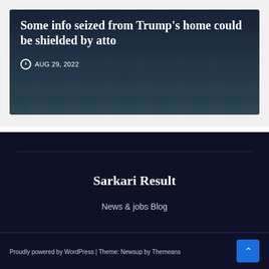Some info seized from Trump's home could be shielded by atto
AUG 29, 2022
Sarkari Result
News & jobs Blog
Proudly powered by WordPress | Theme: Newsup by Themeans